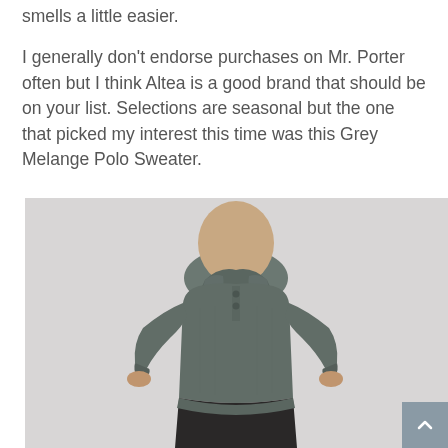smells a little easier.
I generally don't endorse purchases on Mr. Porter often but I think Altea is a good brand that should be on your list. Selections are seasonal but the one that picked my interest this time was this Grey Melange Polo Sweater.
[Figure (photo): A man wearing a grey melange long-sleeve polo sweater with a collar and buttons, shown from the neck down, wearing dark pants, against a light grey background.]